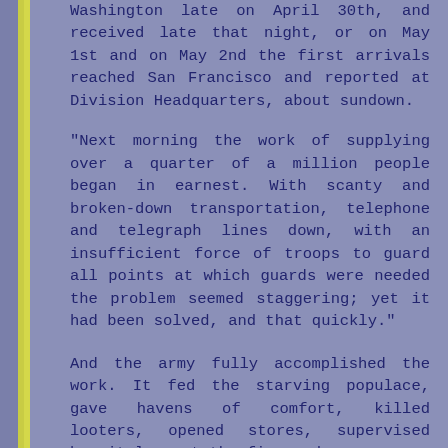Washington late on April 30th, and received late that night, or on May 1st and on May 2nd the first arrivals reached San Francisco and reported at Division Headquarters, about sundown.
"Next morning the work of supplying over a quarter of a million people began in earnest. With scanty and broken-down transportation, telephone and telegraph lines down, with an insufficient force of troops to guard all points at which guards were needed the problem seemed staggering; yet it had been solved, and that quickly."
And the army fully accomplished the work. It fed the starving populace, gave havens of comfort, killed looters, opened stores, supervised hospitals, got the fire under